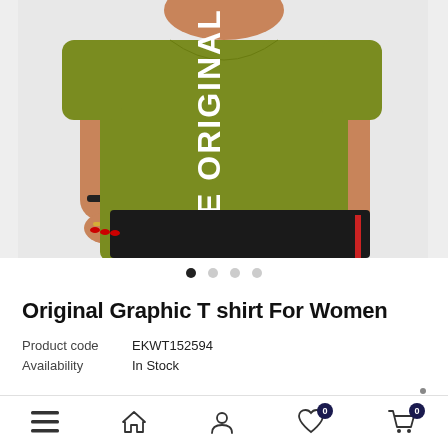[Figure (photo): Woman wearing olive/army green graphic t-shirt with 'BE ORIGINAL' text printed vertically, black pants, photographed from neck to mid-thigh against light grey background]
Original Graphic T shirt For Women
Product code   EKWT152594
Availability   In Stock
₹349.00 (price partially visible)